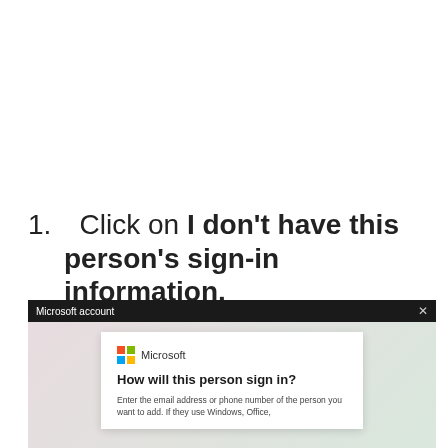1. Click on I don't have this person's sign-in information.
[Figure (screenshot): Microsoft account dialog box showing 'How will this person sign in?' with instructions to enter email address or phone number. The dialog has a dark title bar labeled 'Microsoft account' with an X close button, a gradient background, and a white card containing the Microsoft logo, heading, and body text.]